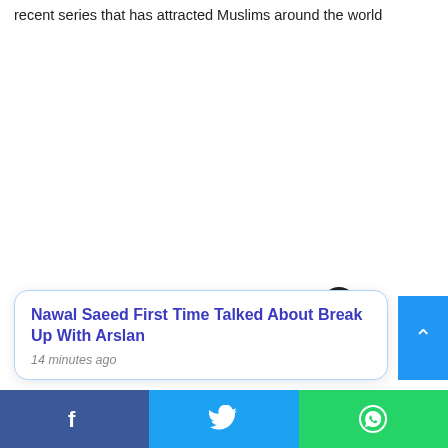recent series that has attracted Muslims around the world
[Figure (screenshot): Blank white advertisement/content area in the middle of the page]
[Figure (other): Close (X) button — dark circular button with white X]
Nawal Saeed First Time Talked About Break Up With Arslan
14 minutes ago
[Figure (other): Blue up-arrow scroll button on right side]
[Figure (other): Bottom share bar with Facebook, Twitter, and WhatsApp buttons]